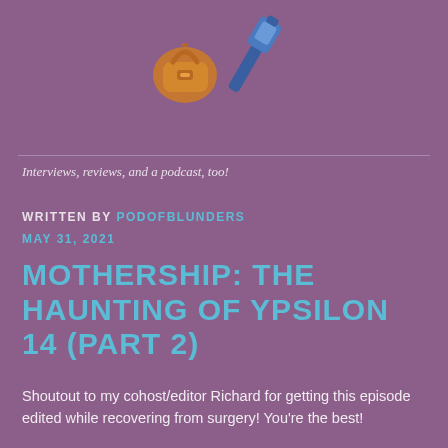[Figure (illustration): Top portion of a podcast logo showing illustrated objects (a bag/purse and a microphone/tool) on a purple background]
Interviews, reviews, and a podcast, too!
WRITTEN BY PODOFBLUNDERS
MAY 31, 2021
MOTHERSHIP: THE HAUNTING OF YPSILON 14 (PART 2)
Shoutout to my cohost/editor Richard for getting this episode edited while recovering from surgery! You're the best!